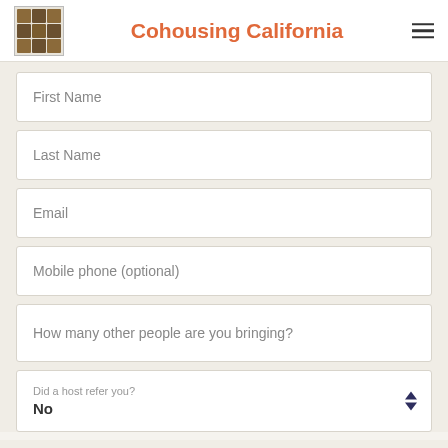Cohousing California
First Name
Last Name
Email
Mobile phone (optional)
How many other people are you bringing?
Did a host refer you? No
Don't publish my RSVP on the website